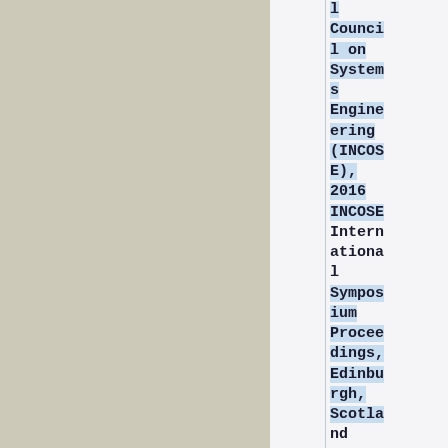[Figure (other): Tan/beige colored rectangle filling the left portion of the page]
l Council on Systems Engineering (INCOSE), 2016 INCOSE International Symposium Proceedings, Edinburgh, Scotland